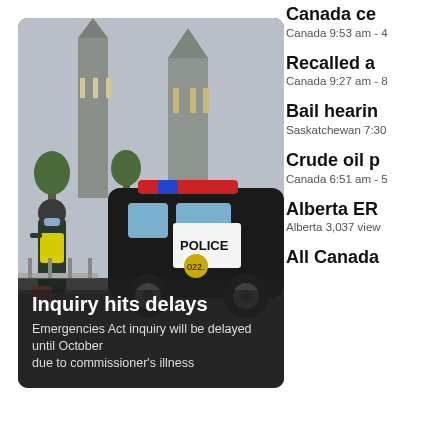[Figure (photo): Police officer and police SUV with Parliament Hill buildings in background. Ottawa scene related to Emergencies Act inquiry.]
Inquiry hits delays
Emergencies Act inquiry will be delayed until October due to commissioner's illness
Canada ce
Canada 9:53 am - 4
Recalled a
Canada 9:27 am - 8
Bail hearin
Saskatchewan 7:30
Crude oil p
Canada 6:51 am - 5
Alberta ER
Alberta 3,037 view
All Canada
'CSIS IS BROKEN'
'CSIS is broken,' lawyer s support of spy service e